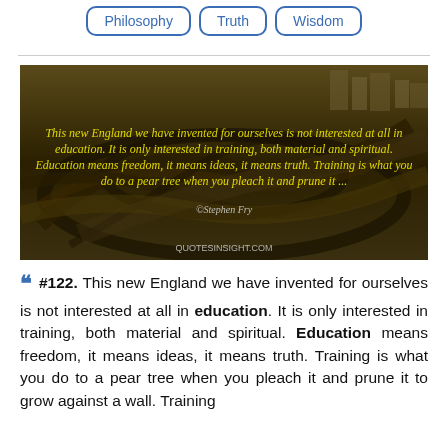Philosophy | Truth | Wisdom
[Figure (photo): Aerial photograph of a complex highway interchange, overlaid with italic yellow text quoting Stephen Fry about education vs training, with QUOTESINSIGHT.COM watermark]
" #122. This new England we have invented for ourselves is not interested at all in education. It is only interested in training, both material and spiritual. Education means freedom, it means ideas, it means truth. Training is what you do to a pear tree when you pleach it and prune it to grow against a wall. Training